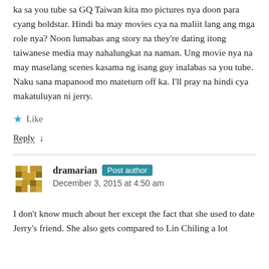ka sa you tube sa GQ Taiwan kita mo pictures nya doon para cyang boldstar. Hindi ba may movies cya na maliit lang ang mga role nya? Noon lumabas ang story na they're dating itong taiwanese media may nahalungkat na naman. Ung movie nya na may maselang scenes kasama ng isang guy inalabas sa you tube. Naku sana mapanood mo mateturn off ka. I'll pray na hindi cya makatuluyan ni jerry.
★ Like
Reply ↓
dramarian Post author
December 3, 2015 at 4:50 am
I don't know much about her except the fact that she used to date Jerry's friend. She also gets compared to Lin Chiling a lot